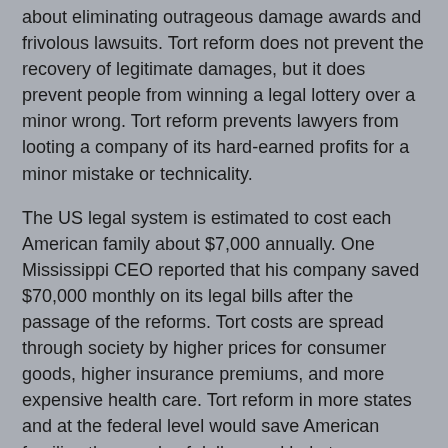about eliminating outrageous damage awards and frivolous lawsuits. Tort reform does not prevent the recovery of legitimate damages, but it does prevent people from winning a legal lottery over a minor wrong. Tort reform prevents lawyers from looting a company of its hard-earned profits for a minor mistake or technicality.
The US legal system is estimated to cost each American family about $7,000 annually. One Mississippi CEO reported that his company saved $70,000 monthly on its legal bills after the passage of the reforms. Tort costs are spread through society by higher prices for consumer goods, higher insurance premiums, and more expensive health care. Tort reform in more states and at the federal level would save American families thousands of dollars and help to spur economic growth.
Sources:
http://www.opinionjournal.com/cc/?id=110007260
"Mississippi's Tort Reform Triumph," Wall Street Journal, May 10-11, 2008